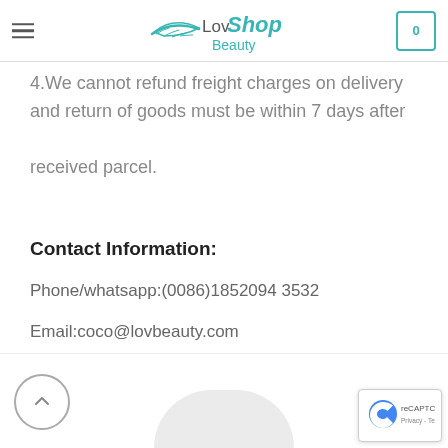LovShop Beauty
will check and find you a solution.
4.We cannot refund freight charges on delivery and return of goods must be within 7 days after received parcel.
Contact Information:
Phone/whatsapp:(0086)1852094 3532
Email:coco@lovbeauty.com
[Figure (other): Back to top button (circular arrow) and partial product image preview at bottom]
[Figure (other): reCAPTCHA badge with Privacy and Terms links]